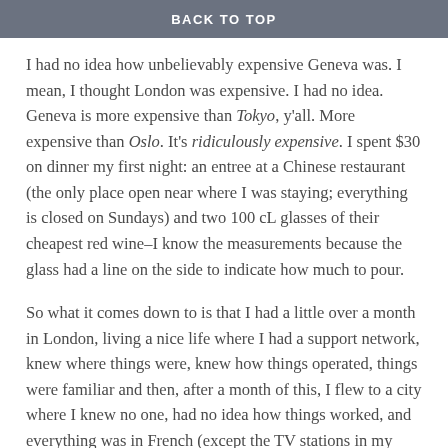BACK TO TOP
I had no idea how unbelievably expensive Geneva was. I mean, I thought London was expensive. I had no idea. Geneva is more expensive than Tokyo, y'all. More expensive than Oslo. It's ridiculously expensive. I spent $30 on dinner my first night: an entree at a Chinese restaurant (the only place open near where I was staying; everything is closed on Sundays) and two 100 cL glasses of their cheapest red wine–I know the measurements because the glass had a line on the side to indicate how much to pour.
So what it comes down to is that I had a little over a month in London, living a nice life where I had a support network, knew where things were, knew how things operated, things were familiar and then, after a month of this, I flew to a city where I knew no one, had no idea how things worked, and everything was in French (except the TV stations in my apartment, which were all in German for some reason). And I have no idea what this has to do with